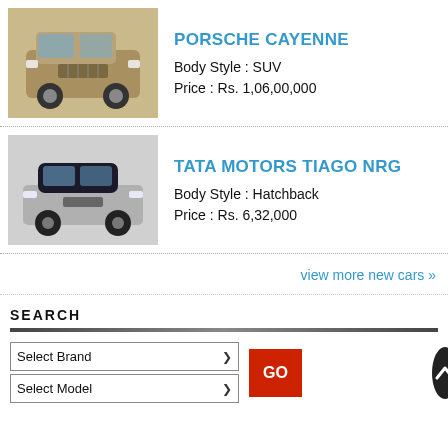[Figure (photo): Photo of Porsche Cayenne SUV, gold/beige color, front-angle view]
PORSCHE CAYENNE
Body Style : SUV
Price : Rs. 1,06,00,000
[Figure (photo): Photo of Tata Motors Tiago NRG hatchback, dark blue/black roof, top-front angle view]
TATA MOTORS TIAGO NRG
Body Style : Hatchback
Price : Rs. 6,32,000
view more new cars »
SEARCH
Select Brand
Select Model
GO